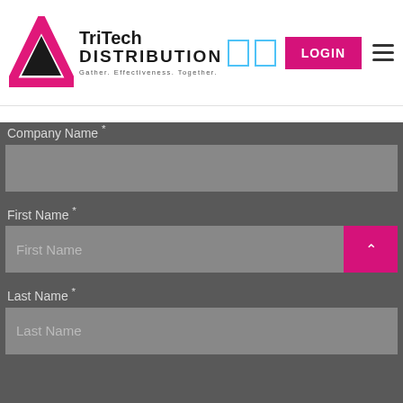[Figure (logo): TriTech Distribution logo with pink triangle and text. Tagline: Gather. Effectiveness. Together.]
Company Name *
First Name *
Last Name *